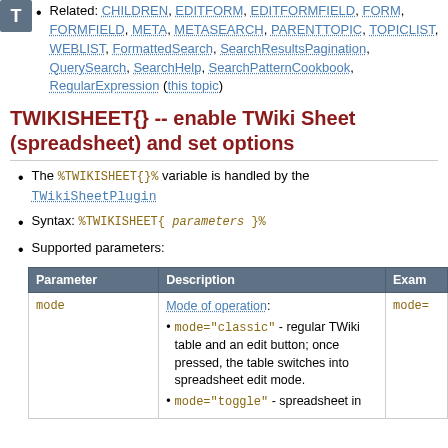Related: CHILDREN, EDITFORM, EDITFORMFIELD, FORM, FORMFIELD, META, METASEARCH, PARENTTOPIC, TOPICLIST, WEBLIST, FormattedSearch, SearchResultsPagination, QuerySearch, SearchHelp, SearchPatternCookbook, RegularExpression (this topic)
TWIKISHEET{} -- enable TWiki Sheet (spreadsheet) and set options
The %TWIKISHEET{}% variable is handled by the TWikiSheetPlugin
Syntax: %TWIKISHEET{ parameters }%
Supported parameters:
| Parameter | Description | Exam |
| --- | --- | --- |
| mode | Mode of operation:
• mode="classic" - regular TWiki table and an edit button; once pressed, the table switches into spreadsheet edit mode.
• mode="toggle" - spreadsheet in | mode= |